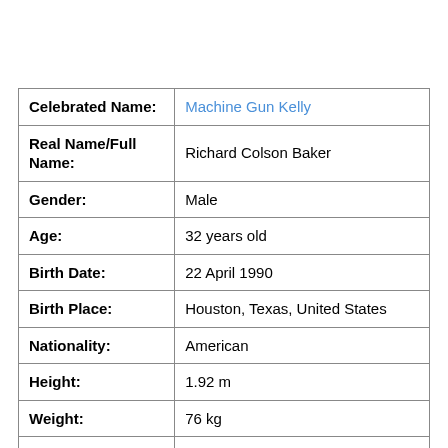| Field | Value |
| --- | --- |
| Celebrated Name: | Machine Gun Kelly |
| Real Name/Full Name: | Richard Colson Baker |
| Gender: | Male |
| Age: | 32 years old |
| Birth Date: | 22 April 1990 |
| Birth Place: | Houston, Texas, United States |
| Nationality: | American |
| Height: | 1.92 m |
| Weight: | 76 kg |
| Sexual Orientation: | Straight |